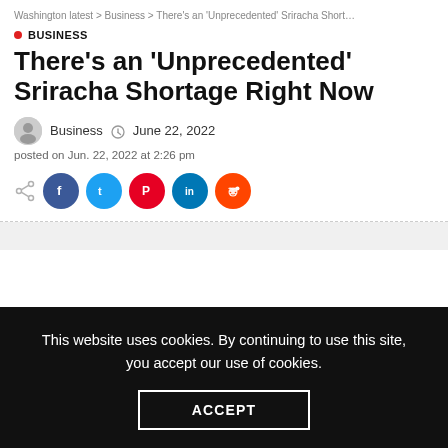Washington latest > Business > There’s an ‘Unprecedented’ Sriracha Short…
BUSINESS
There’s an ‘Unprecedented’ Sriracha Shortage Right Now
Business  June 22, 2022
posted on Jun. 22, 2022 at 2:26 pm
[Figure (infographic): Social share icons: share symbol, Facebook, Twitter, Pinterest, LinkedIn, Reddit]
This website uses cookies. By continuing to use this site, you accept our use of cookies.
ACCEPT